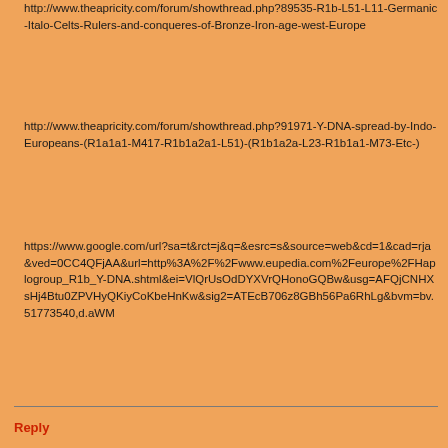http://www.theapricity.com/forum/showthread.php?89535-R1b-L51-L11-Germanic-Italo-Celts-Rulers-and-conqueres-of-Bronze-Iron-age-west-Europe
http://www.theapricity.com/forum/showthread.php?91971-Y-DNA-spread-by-Indo-Europeans-(R1a1a1-M417-R1b1a2a1-L51)-(R1b1a2a-L23-R1b1a1-M73-Etc-)
https://www.google.com/url?sa=t&rct=j&q=&esrc=s&source=web&cd=1&cad=rja&ved=0CC4QFjAA&url=http%3A%2F%2Fwww.eupedia.com%2Feurope%2FHaplogroup_R1b_Y-DNA.shtml&ei=VlQrUsOdDYXVrQHonoGQBw&usg=AFQjCNHXsHj4Btu0ZPVHyQKiyCoKbeHnKw&sig2=ATEcB706z8GBh56Pa6RhLg&bvm=bv.51773540,d.aWM
Reply